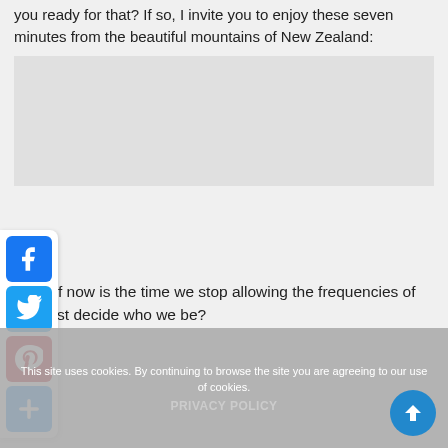you ready for that? If so, I invite you to enjoy these seven minutes from the beautiful mountains of New Zealand:
[Figure (other): Embedded video placeholder area showing mountains of New Zealand]
[Figure (infographic): Social sharing buttons: Facebook, Twitter, Pinterest, and a general share button]
What if now is the time we stop allowing the frequencies of the past decide who we be?
This site uses cookies. By continuing to browse the site you are agreeing to our use of cookies.
PRIVACY POLICY